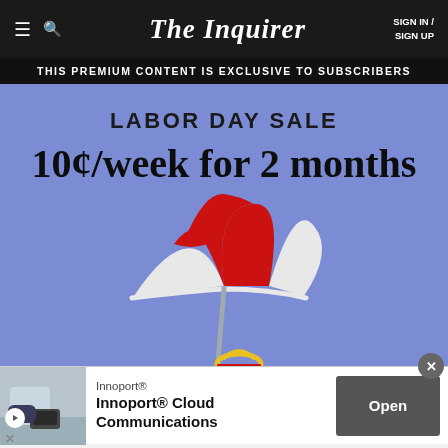The Inquirer   SIGN IN / SIGN UP
THIS PREMIUM CONTENT IS EXCLUSIVE TO SUBSCRIBERS
[Figure (infographic): Labor Day Sale promotion on blue-purple background showing a beach umbrella illustration. Text: LABOR DAY SALE, 10¢/week for 2 months]
[Figure (infographic): Innoport® Cloud Communications advertisement with office phone image and Open button]